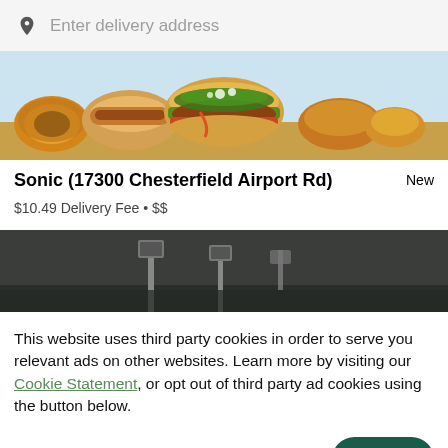Enter delivery address
[Figure (photo): Food banner showing burgers, hot dogs, onion rings, and other fast food items]
Sonic (17300 Chesterfield Airport Rd)
New
$10.49 Delivery Fee • $$
[Figure (photo): Dark background with drive-in speaker stands silhouettes]
This website uses third party cookies in order to serve you relevant ads on other websites. Learn more by visiting our Cookie Statement, or opt out of third party ad cookies using the button below.
OPT OUT
GOT IT